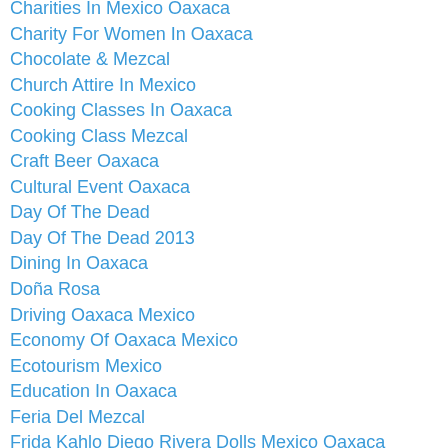Charities In Mexico Oaxaca
Charity For Women In Oaxaca
Chocolate & Mezcal
Church Attire In Mexico
Cooking Classes In Oaxaca
Cooking Class Mezcal
Craft Beer Oaxaca
Cultural Event Oaxaca
Day Of The Dead
Day Of The Dead 2013
Dining In Oaxaca
Doña Rosa
Driving Oaxaca Mexico
Economy Of Oaxaca Mexico
Ecotourism Mexico
Education In Oaxaca
Feria Del Mezcal
Frida Kahlo Diego Rivera Dolls Mexico Oaxaca
Fundación Harp Helú Health Project
Gift Giving Oaxaca
Guelaguetza In Oaxaca